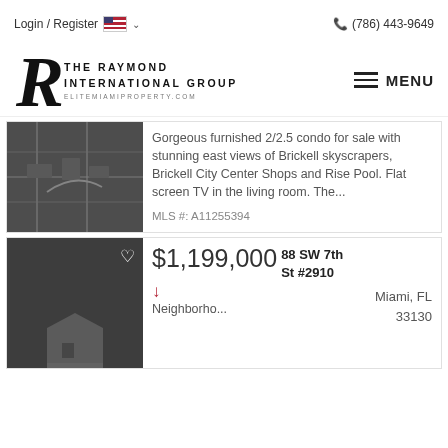Login / Register  🇺🇸 ∨   ☎ (786) 443-9649
[Figure (logo): The Raymond International Group logo with stylized R and text ELITEMIAMIPROPERTY.COM, with MENU button]
Gorgeous furnished 2/2.5 condo for sale with stunning east views of Brickell skyscrapers, Brickell City Center Shops and Rise Pool. Flat screen TV in the living room. The...
MLS #: A11255394
$1,199,000
88 SW 7th St #2910
Miami, FL 33130
Neighborho...